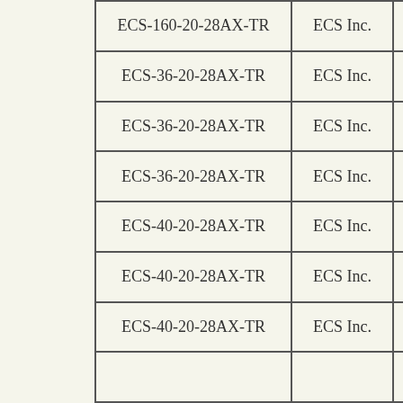| Part Number | Manufacturer | C |
| --- | --- | --- |
| ECS-160-20-28AX-TR | ECS Inc. | C |
| ECS-36-20-28AX-TR | ECS Inc. | C |
| ECS-36-20-28AX-TR | ECS Inc. | C |
| ECS-36-20-28AX-TR | ECS Inc. | C |
| ECS-40-20-28AX-TR | ECS Inc. | C |
| ECS-40-20-28AX-TR | ECS Inc. | C |
| ECS-40-20-28AX-TR | ECS Inc. | C |
|  |  |  |